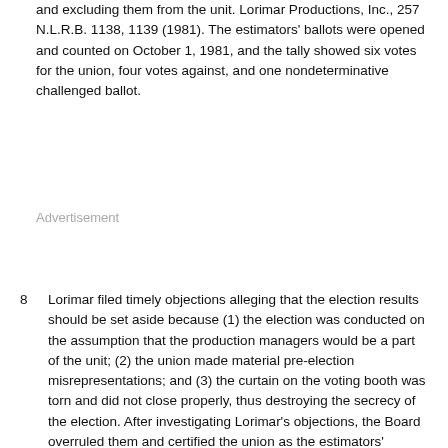and excluding them from the unit. Lorimar Productions, Inc., 257 N.L.R.B. 1138, 1139 (1981). The estimators' ballots were opened and counted on October 1, 1981, and the tally showed six votes for the union, four votes against, and one nondeterminative challenged ballot.
Advertisement
8   Lorimar filed timely objections alleging that the election results should be set aside because (1) the election was conducted on the assumption that the production managers would be a part of the unit; (2) the union made material pre-election misrepresentations; and (3) the curtain on the voting booth was torn and did not close properly, thus destroying the secrecy of the election. After investigating Lorimar's objections, the Board overruled them and certified the union as the estimators' exclusive collective bargaining representative on November 12, 1981. Lorimar filed with the Board a request for review of the Regional Director's decision. The Board denied Lorimar's request, finding that it raised no substantial issues